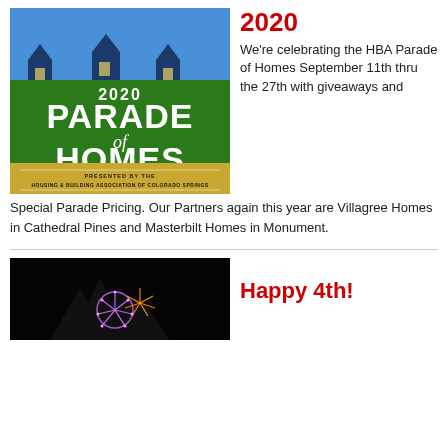[Figure (logo): 2020 Parade of Homes logo presented by the Housing & Building Association of Colorado Springs]
2020
We're celebrating the HBA Parade of Homes September 11th thru the 27th with giveaways and Special Parade Pricing. Our Partners again this year are Villagree Homes in Cathedral Pines and Masterbilt Homes in Monument.
[Figure (photo): Fireworks photo for Happy 4th celebration]
Happy 4th!